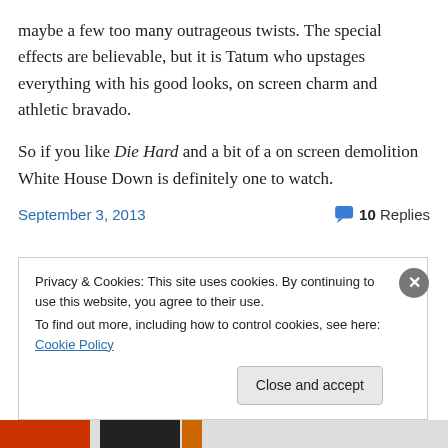maybe a few too many outrageous twists. The special effects are believable, but it is Tatum who upstages everything with his good looks, on screen charm and athletic bravado.
So if you like Die Hard and a bit of a on screen demolition White House Down is definitely one to watch.
September 3, 2013    10 Replies
Privacy & Cookies: This site uses cookies. By continuing to use this website, you agree to their use.
To find out more, including how to control cookies, see here: Cookie Policy
Close and accept